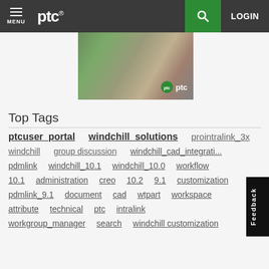MENU | ptc® | [search] | LOGIN
[Figure (photo): Photo of hands, possibly writing or using a device, with PTC logo badge overlay]
Top Tags
ptcuser_portal
windchill_solutions
prointralink_3x
windchill
group discussion
windchill_cad_integrati...
pdmlink
windchill_10.1
windchill_10.0
workflow
10.1
administration
creo
10.2
9.1
customization
pdmlink_9.1
document
cad
wtpart
workspace
attribute
technical
ptc
intralink
workgroup_manager
search
windchill customization